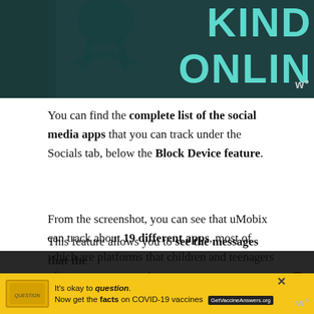[Figure (illustration): Partial view of a 'Be Kind Online' graphic with teal/dark background and light teal text showing 'KIND ONLINE']
You can find the complete list of the social media apps that you can track under the Socials tab, below the Block Device feature.
From the screenshot, you can see that uMobix can track about 19 different apps, most of which are platforms that children and teenagers often use to communicate.
This feature allows you to see the messages that the
[Figure (advertisement): Yellow banner ad: 'It's okay to question. Now get the facts on COVID-19 vaccines - GetVaccineAnswers.org']